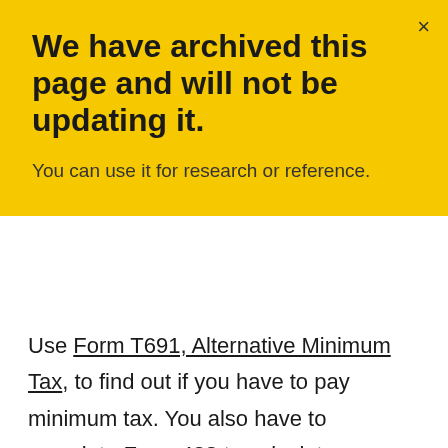We have archived this page and will not be updating it.
You can use it for research or reference.
Use Form T691, Alternative Minimum Tax, to find out if you have to pay minimum tax. You also have to complete Form 428 to calculate additional provincial or territorial tax for minimum tax purposes.
Here is a list of the most common situations